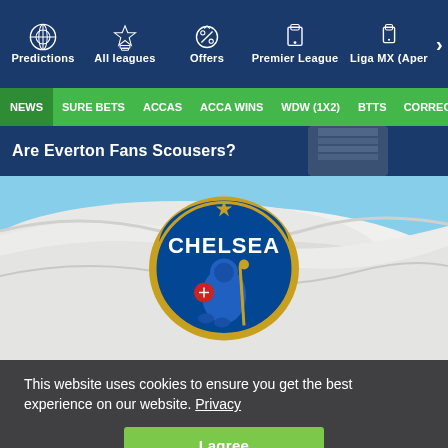Predictions | All leagues | Offers | Premier League | Liga MX (Aper
NEWS | SURE BETS | ACCAS | ACCA WINS | WDW (1X2) | BTTS | CORRECT
Are Everton Fans Scousers?
[Figure (photo): Chelsea FC badge/crest on a white waving flag with blue sky background]
This website uses cookies to ensure you get the best experience on our website. Privacy
I agree